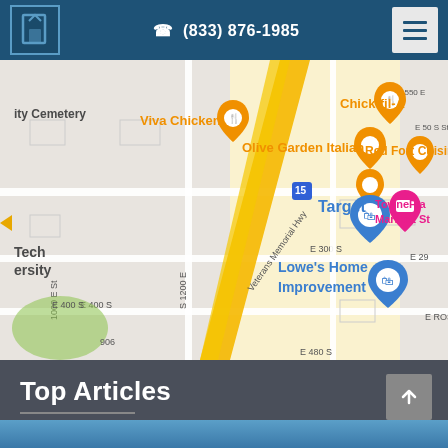(833) 876-1985
[Figure (map): Google Maps view showing area near Veterans Memorial Hwy / I-15 with landmarks: Viva Chicken, Chick-fil-A, Olive Garden Italian, Red Fort Cuisine, Target, TownePlace Marriott Suites, Lowe's Home Improvement, Tech University. Streets include E 300 S, E 400 S, 1000 E St, S 1200 E, 1470 E St, 1550 E. Green park area visible bottom left.]
Top Articles